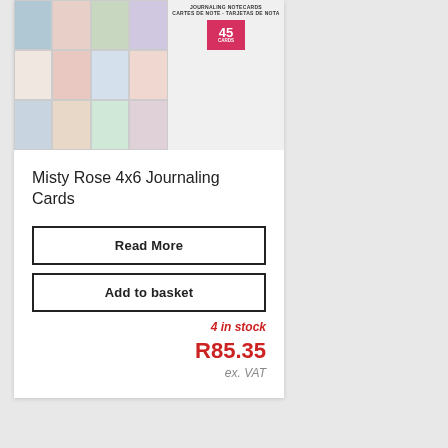[Figure (photo): Product image of Misty Rose 4x6 Journaling Cards package showing a grid of colorful notecards with floral designs, with a pink badge showing 45 on the right side]
Misty Rose 4x6 Journaling Cards
Read More
Add to basket
4 in stock
R85.35
ex. VAT